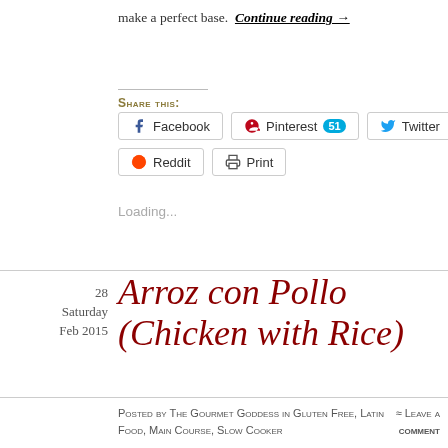make a perfect base.  Continue reading →
Share this:
[Figure (screenshot): Social share buttons: Facebook, Pinterest 51, Twitter, Reddit, Print]
Loading...
28
Saturday
Feb 2015
Arroz con Pollo (Chicken with Rice)
Posted by The Gourmet Goddess in Gluten Free, Latin Food, Main Course, Slow Cooker
≈ Leave a comment